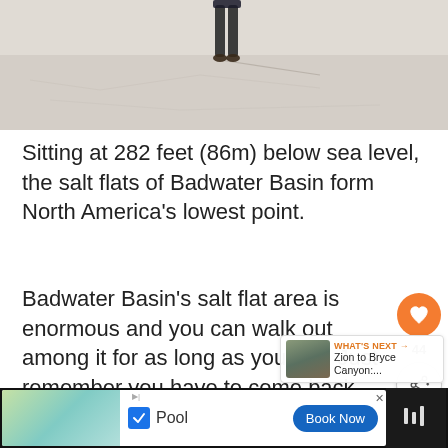[Figure (photo): Person standing on white salt flats of Badwater Basin, viewed from below, showing their legs and long shadow on the cracked salt surface.]
Sitting at 282 feet (86m) below sea level, the salt flats of Badwater Basin form North America's lowest point.
Badwater Basin's salt flat area is enormous and you can walk out among it for as long as you like. Just remember you have to come back on yourself! If you time it right between freeze-thaw and evaporation cycles, you will see quite the salt hexagons associated with this type of climate.
[Figure (screenshot): UI overlay with orange heart/favorite button, count label 44, and share button.]
[Figure (screenshot): What's Next widget showing thumbnail of canyon scenery with text WHAT'S NEXT → Zion to Bryce Canyon:...]
[Figure (screenshot): Advertisement bar at bottom showing hotel pool image with Pool checkbox label and Book Now button.]